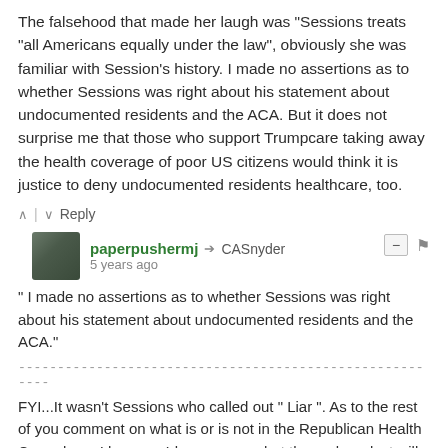The falsehood that made her laugh was "Sessions treats "all Americans equally under the law", obviously she was familiar with Session's history. I made no assertions as to whether Sessions was right about his statement about undocumented residents and the ACA. But it does not surprise me that those who support Trumpcare taking away the health coverage of poor US citizens would think it is justice to deny undocumented residents healthcare, too.
^ | v   Reply
paperpushermj → CASnyder
5 years ago
" I made no assertions as to whether Sessions was right about his statement about undocumented residents and the ACA."
--------------------------------------------------------
FYI...It wasn't Sessions who called out " Liar ". As to the rest of you comment on what is or is not in the Republican Health Care plan... I have no Idea nor you what the end product will be.